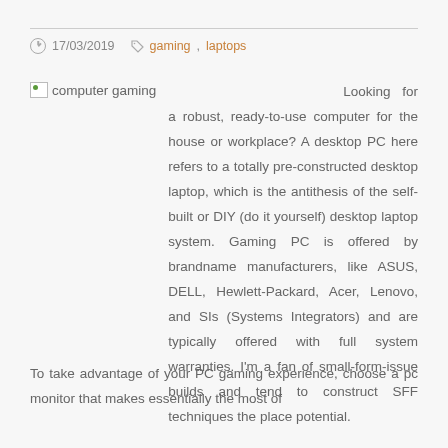17/03/2019  gaming, laptops
[Figure (photo): Broken image placeholder labeled 'computer gaming']
Looking for a robust, ready-to-use computer for the house or workplace? A desktop PC here refers to a totally pre-constructed desktop laptop, which is the antithesis of the self-built or DIY (do it yourself) desktop laptop system. Gaming PC is offered by brandname manufacturers, like ASUS, DELL, Hewlett-Packard, Acer, Lenovo, and SIs (Systems Integrators) and are typically offered with full system warranties. I'm a fan of small-form-issue builds and tend to construct SFF techniques the place potential.
To take advantage of your PC gaming experience, choose a pc monitor that makes essentially the most of